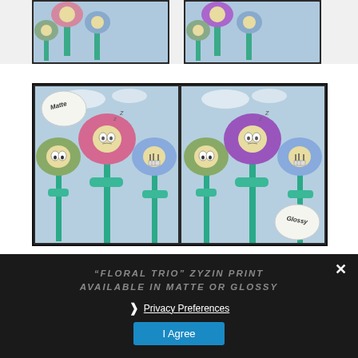[Figure (photo): Two photos of cartoon flower illustrations (matte and glossy prints) shown at top, cropped]
[Figure (photo): Side-by-side comparison of 'Floral Trio' Zyzin art print showing matte (left) and glossy (right) finish with cartoon flowers on dark background, with 'Matte' and 'Glossy' bubble labels]
"FLORAL TRIO" ZYZIN PRINT AVAILABLE IN MATTE OR GLOSSY
Privacy Preferences
I Agree